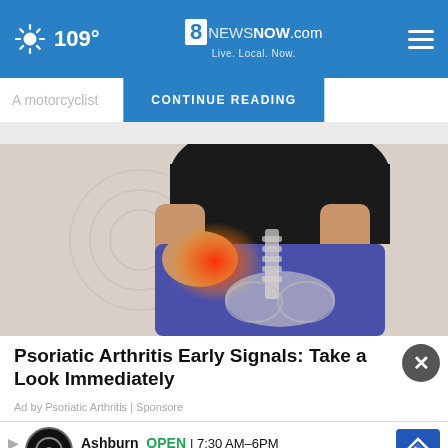109° 8NewsNow.com Live. Local. Now.
A motorcyclist CONTINUE READING was on the
[Figure (photo): Medical illustration of a person with hip/joint pain highlighted in red, showing spine anatomy overlay on a person wearing blue pants and black top]
Psoriatic Arthritis Early Signals: Take a Look Immediately
Ad by Psoriatic Arthritis | Sponsore
Ashburn OPEN 7:30 AM–6PM 43781 Parkhurst Plaza, Ashburn